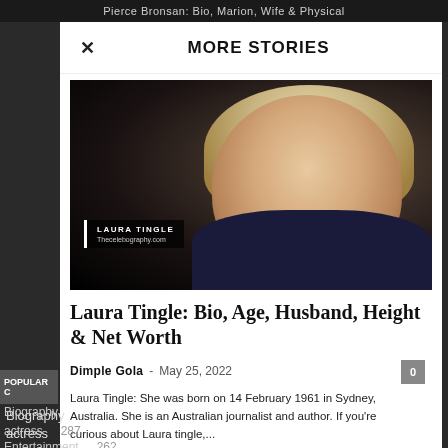Pierce Bronsan: Bio, Marion, Wife & Physical
MORE STORIES
[Figure (photo): Portrait photo of Laura Tingle, an Australian journalist, with blonde hair against a dark background. A watermark reads 'LAURA TINGLE / Thecelebography.com']
Laura Tingle: Bio, Age, Husband, Height & Net Worth
Dimple Gola  -  May 25, 2022
Laura Tingle: She was born on 14 February 1961 in Sydney, Australia. She is an Australian journalist and author. If you're curious about Laura tingle,...
POPULAR C
Biography
actress
Entertainment